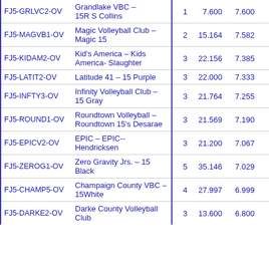| Code | Team Name |  | # | Total | Avg | Pts |  | # | Total | ... |
| --- | --- | --- | --- | --- | --- | --- | --- | --- | --- | --- |
| FJ5-GRLVC2-OV | Grandlake VBC – 15R S Collins | 1 | 7.600 | 7.600 | 88 | 1 | 7.600 |
| FJ5-MAGVB1-OV | Magic Volleyball Club – Magic 15 | 2 | 15.164 | 7.582 | 90 | 2 | 15.16 |
| FJ5-KIDAM2-OV | Kid's America – Kids America- Slaughter | 3 | 22.156 | 7.385 | 91 | 3 | 22.15 |
| FJ5-LATIT2-OV | Latitude 41 – 15 Purple | 3 | 22.000 | 7.333 | 92 | 3 | 22.00 |
| FJ5-INFTY3-OV | Infinity Volleyball Club – 15 Gray | 3 | 21.764 | 7.255 | 93 | 3 | 21.76 |
| FJ5-ROUND1-OV | Roundtown Volleyball – Roundtown 15's Desarae | 3 | 21.569 | 7.190 | 94 | 3 | 21.56 |
| FJ5-EPICV2-OV | EPIC – EPIC-- Hendricksen | 3 | 21.200 | 7.067 | 95 | 3 | 21.20 |
| FJ5-ZEROG1-OV | Zero Gravity Jrs. – 15 Black | 5 | 35.146 | 7.029 | 96 | 7 | 41.40 |
| FJ5-CHAMP5-OV | Champaign County VBC – 15White | 4 | 27.997 | 6.999 | 97 | 4 | 27.99 |
| FJ5-DARKE2-OV | Darke County Volleyball Club | 3 | 13.600 | 6.800 | 98 | 3 | 13.60 |